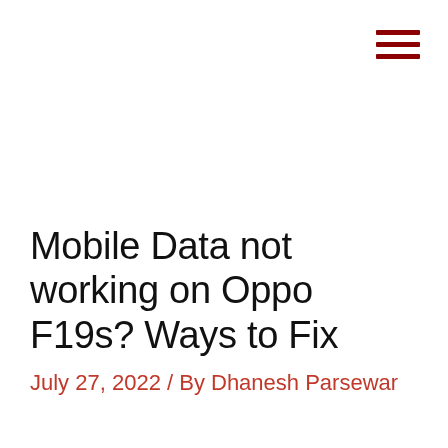[Figure (other): Hamburger menu icon — three horizontal dark red lines in the top-right corner]
Mobile Data not working on Oppo F19s? Ways to Fix
July 27, 2022 / By Dhanesh Parsewar